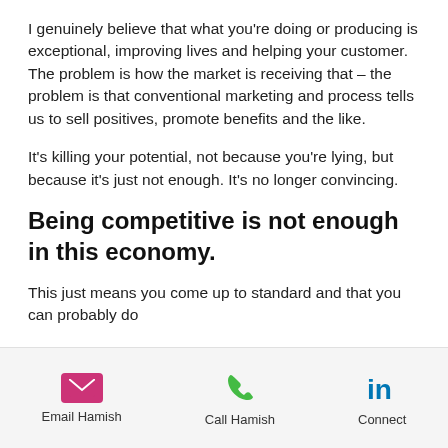I genuinely believe that what you're doing or producing is exceptional, improving lives and helping your customer. The problem is how the market is receiving that – the problem is that conventional marketing and process tells us to sell positives, promote benefits and the like.
It's killing your potential, not because you're lying, but because it's just not enough. It's no longer convincing.
Being competitive is not enough in this economy.
This just means you come up to standard and that you can probably do
Email Hamish   Call Hamish   Connect